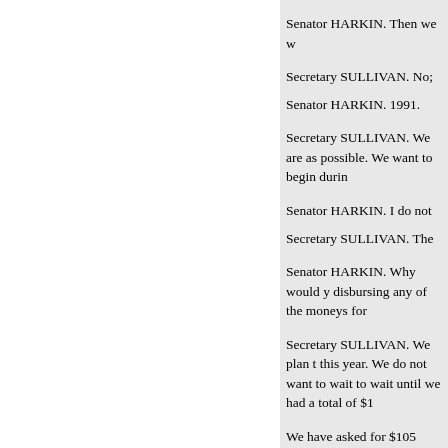Senator HARKIN. Then we w
Secretary SULLIVAN. No;
Senator HARKIN. 1991.
Secretary SULLIVAN. We are as possible. We want to begin durin
Senator HARKIN. I do not
Secretary SULLIVAN. The
Senator HARKIN. Why would y disbursing any of the moneys for
Secretary SULLIVAN. We plan t this year. We do not want to wait to wait until we had a total of $1
We have asked for $105 million the community health center, ma
Senator HARKIN. Of about $57 the criteria set and get the inform do that.